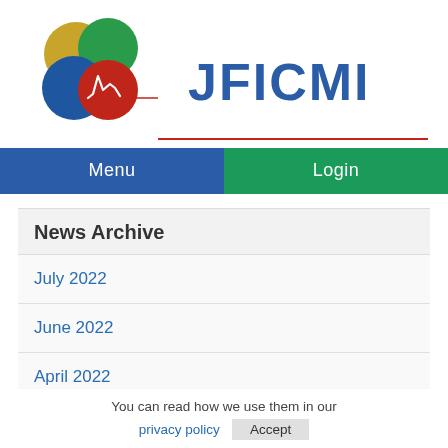[Figure (logo): JFICMI logo with four overlapping circles: gold (top-left), green (top-right), blue (bottom-left), red (bottom-right with white spectral peak curve). A red horizontal line extends to the right.]
JFICMI
Menu
Login
News Archive
July 2022
June 2022
April 2022
You can read how we use them in our
privacy policy  Accept